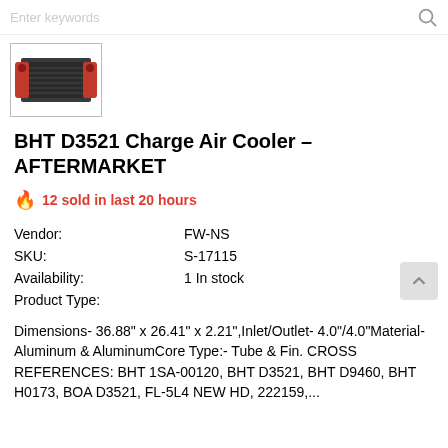[Figure (photo): Product thumbnail image of BHT D3521 Charge Air Cooler - a dark gray rectangular intercooler/charge air cooler unit with red end tanks, shown in a bordered thumbnail box]
BHT D3521 Charge Air Cooler - AFTERMARKET
12 sold in last 20 hours
| Vendor: | FW-NS |
| SKU: | S-17115 |
| Availability: | 1 In stock |
| Product Type: |  |
Dimensions- 36.88" x 26.41" x 2.21",Inlet/Outlet- 4.0"/4.0"Material- Aluminum & AluminumCore Type:- Tube & Fin. CROSS REFERENCES: BHT 1SA-00120, BHT D3521, BHT D9460, BHT H0173, BOA D3521, FL-5L4 NEW HD, 222159,...